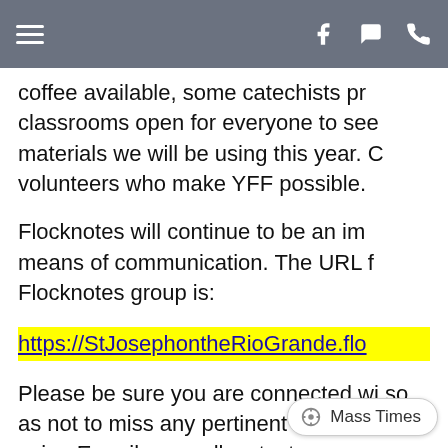Navigation bar with hamburger menu, facebook, chat, and phone icons
coffee available, some catechists pr classrooms open for everyone to see materials we will be using this year. C volunteers who make YFF possible.
Flocknotes will continue to be an im means of communication. The URL f Flocknotes group is:
https://StJosephontheRioGrande.flo
Please be sure you are connected wi so as not to miss any pertinent infor will be using E-mails as well as texts.
We will continue to foll policies of the Archdioc children are God's children and th